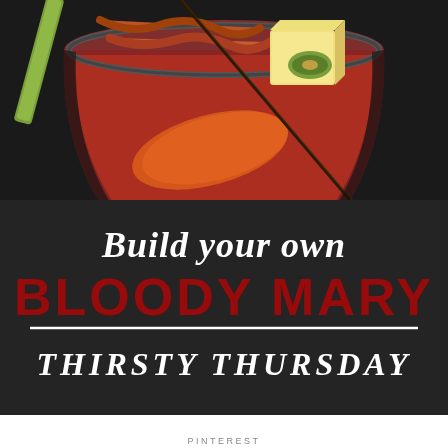[Figure (photo): A Bloody Mary cocktail in a glass garnished with celery, bacon, olives, cheese, and pepperoni, photographed from above against a dark background. Large text overlay reads 'Build your own BLOODY MARY THIRSTY THURSDAY']
PINTEREST